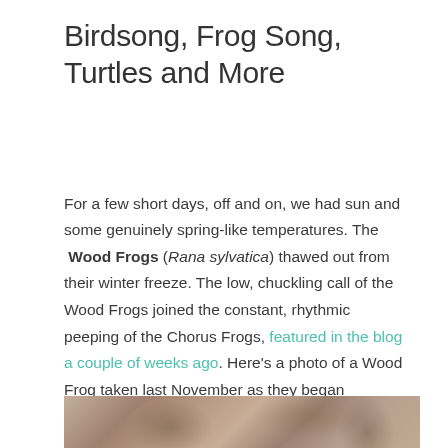Birdsong, Frog Song, Turtles and More
For a few short days, off and on, we had sun and some genuinely spring-like temperatures. The Wood Frogs (Rana sylvatica) thawed out from their winter freeze. The low, chuckling call of the Wood Frogs joined the constant, rhythmic peeping of the Chorus Frogs, featured in the blog a couple of weeks ago. Here's a photo of a Wood Frog taken last November as they began hibernation. The black patch near the eye underlined with light yellow, plus ridges down the back are the field marks for this small frog.
[Figure (photo): Close-up photo of a Wood Frog among dead leaves, partially visible at the bottom of the page]